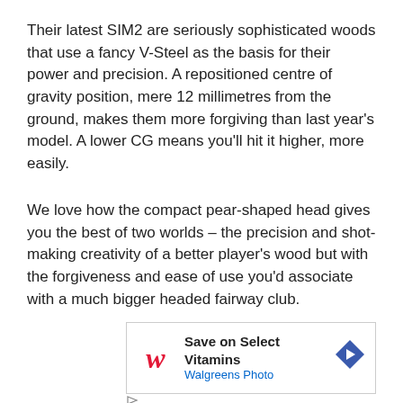Their latest SIM2 are seriously sophisticated woods that use a fancy V-Steel as the basis for their power and precision. A repositioned centre of gravity position, mere 12 millimetres from the ground, makes them more forgiving than last year's model. A lower CG means you'll hit it higher, more easily.
We love how the compact pear-shaped head gives you the best of two worlds – the precision and shot-making creativity of a better player's wood but with the forgiveness and ease of use you'd associate with a much bigger headed fairway club.
[Figure (other): Advertisement banner for Walgreens Photo: 'Save on Select Vitamins' with Walgreens cursive W logo in red and a blue diamond arrow icon]